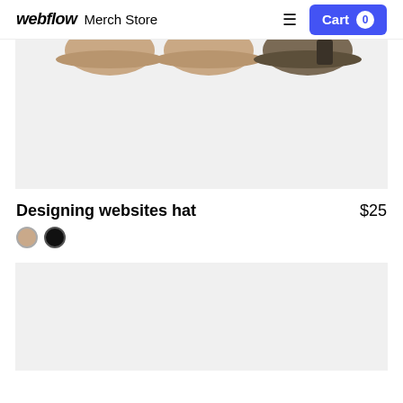webflow Merch Store
[Figure (photo): Product image showing three hats from above on a light gray background — partially cropped at top]
Designing websites hat  $25
[Figure (illustration): Two color swatches: tan/beige circle and black circle]
[Figure (photo): Second product image on light gray background — partially visible at bottom of page]